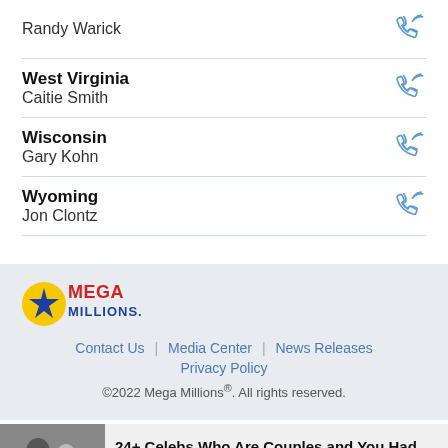Randy Warick
West Virginia
Caitie Smith
Wisconsin
Gary Kohn
Wyoming
Jon Clontz
[Figure (logo): Mega Millions logo with gold star and blue text]
Contact Us | Media Center | News Releases
Privacy Policy
©2022 Mega Millions®. All rights reserved.
[Figure (photo): Celebrity couple photo - advertisement for '24+ Celebs Who Are Couples and You Had No Idea']
24+ Celebs Who Are Couples and You Had No Idea